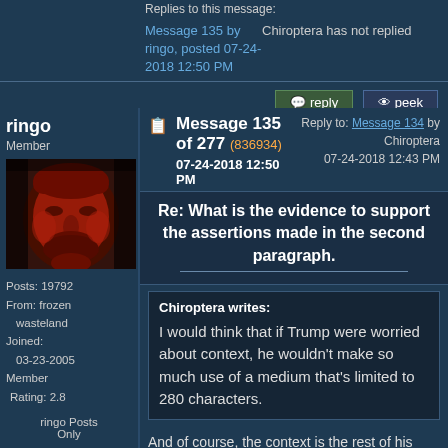Replies to this message:
Message 135 by ringo, posted 07-24-2018 12:50 PM
Chiroptera has not replied
ringo
Member
[Figure (photo): Red-tinted avatar photo of a man's face]
Posts: 19792
From: frozen wasteland
Joined: 03-23-2005
Member Rating: 2.8
ringo Posts Only
Message 135 of 277 (836934)
07-24-2018 12:50 PM
Reply to: Message 134 by Chiroptera
07-24-2018 12:43 PM
Re: What is the evidence to support the assertions made in the second paragraph.
Chiroptera writes:
I would think that if Trump were worried about context, he wouldn't make so much use of a medium that's limited to 280 characters.
And of course, the context is the rest of his Twitter posts.
And our geese will blot out the sun.
This message is a reply to: